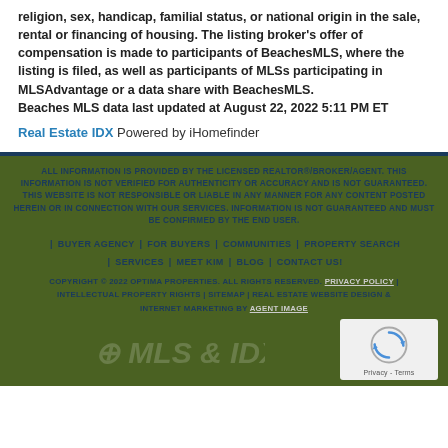religion, sex, handicap, familial status, or national origin in the sale, rental or financing of housing. The listing broker's offer of compensation is made to participants of BeachesMLS, where the listing is filed, as well as participants of MLSs participating in MLSAdvantage or a data share with BeachesMLS. Beaches MLS data last updated at August 22, 2022 5:11 PM ET
Real Estate IDX Powered by iHomefinder
ALL INFORMATION IS PROVIDED BY THE LICENSED REALTOR®/BROKER/AGENT. THIS INFORMATION IS NOT VERIFIED FOR AUTHENTICITY OR ACCURACY AND IS NOT GUARANTEED. THIS WEBSITE IS NOT RESPONSIBLE OR LIABLE IN ANY MANNER FOR ANY CONTENT POSTED HEREIN OR IN CONNECTION WITH OUR SERVICES. INFORMATION IS NOT GUARANTEED AND MUST BE CONFIRMED BY THE END USER.
| BUYER AGENCY | FOR BUYERS | COMMUNITIES | PROPERTY SEARCH | SERVICES | MEET KIM | BLOG | CONTACT US!
COPYRIGHT © 2022 OPTIMA PROPERTIES. ALL RIGHTS RESERVED. PRIVACY POLICY | INTELLECTUAL PROPERTY RIGHTS | SITEMAP | REAL ESTATE WEBSITE DESIGN & INTERNET MARKETING BY AGENT IMAGE